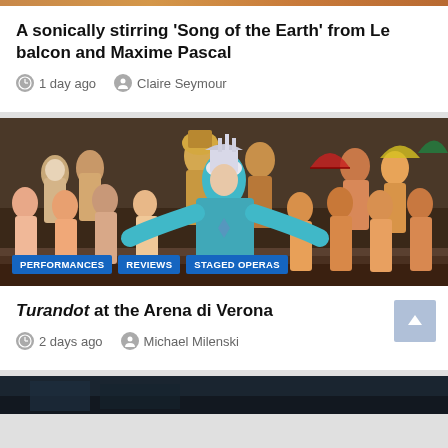A sonically stirring ‘Song of the Earth’ from Le balcon and Maxime Pascal
1 day ago   Claire Seymour
[Figure (photo): Opera performance scene with performers in elaborate Chinese-style costumes. A central figure in light blue/turquoise costume and white headdress stands center stage, surrounded by chorus members in orange/gold robes and others in colorful ceremonial dress holding fans. Tags: PERFORMANCES, REVIEWS, STAGED OPERAS]
Turandot at the Arena di Verona
2 days ago   Michael Milenski
[Figure (photo): Partially cropped image at the bottom of the page, dark tones suggesting an indoor performance space.]